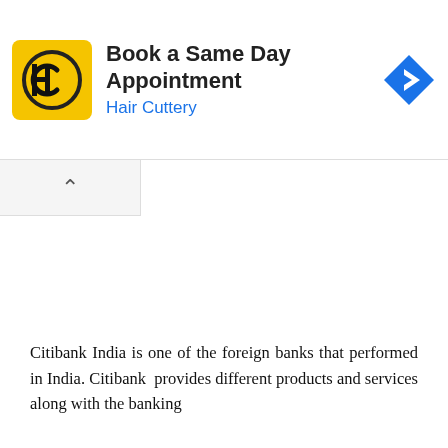[Figure (screenshot): Advertisement banner for Hair Cuttery: yellow HC logo on left, text 'Book a Same Day Appointment' and 'Hair Cuttery' in blue, blue diamond navigation icon on right.]
Citibank India is one of the foreign banks that performed in India. Citibank provides different products and services along with the banking